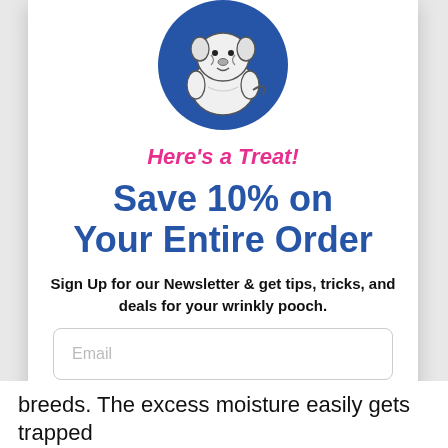[Figure (illustration): Circular blue logo with a cartoon illustration of a chubby/wrinkly white dog (bulldog/shar pei type) sitting, drawn in a simple line art style on a blue circle background.]
Here's a Treat!
Save 10% on Your Entire Order
Sign Up for our Newsletter & get tips, tricks, and deals for your wrinkly pooch.
Email
Get 10% Off
breeds. The excess moisture easily gets trapped